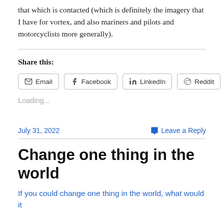that which is contacted (which is definitely the imagery that I have for vortex, and also mariners and pilots and motorcyclists more generally).
Share this:
Email  Facebook  LinkedIn  Reddit
Loading...
July 31, 2022    Leave a Reply
Change one thing in the world
If you could change one thing in the world, what would it